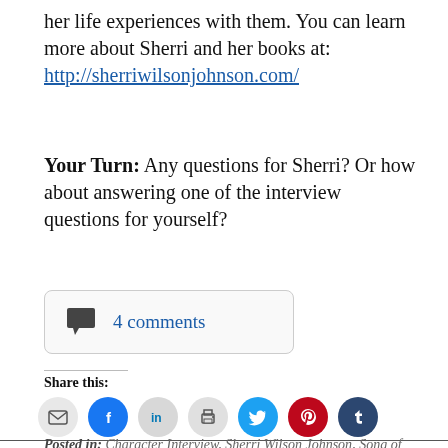her life experiences with them. You can learn more about Sherri and her books at: http://sherriwilsonjohnson.com/
Your Turn: Any questions for Sherri? Or how about answering one of the interview questions for yourself?
4 comments
Share this:
[Figure (infographic): Row of social sharing icon buttons: email (grey), Facebook (blue), LinkedIn (grey), print (grey), Twitter (cyan), Pinterest (red), Tumblr (dark blue)]
Posted in: Character Interview, Sherri Wilson Johnson, Song of the Meadowlark